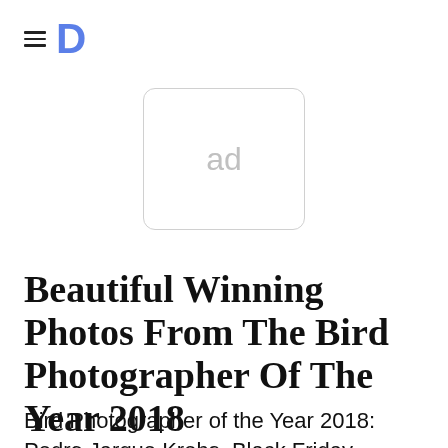≡ D
[Figure (other): Advertisement placeholder box with text 'ad' inside a rounded rectangle border]
Beautiful Winning Photos From The Bird Photographer Of The Year 2018
Bird Photographer of the Year 2018: Pedro Jarque Krebs. Black Friday – American